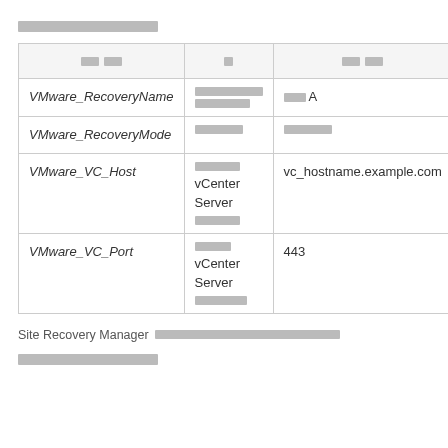[redacted section header]
| [col1] | [col2] | [col3] |
| --- | --- | --- |
| VMware_RecoveryName | [redacted description] | [redacted] A |
| VMware_RecoveryMode | [redacted] | [redacted] |
| VMware_VC_Host | [redacted] vCenter Server [redacted] | vc_hostname.example.com |
| VMware_VC_Port | [redacted] vCenter Server [redacted] | 443 |
Site Recovery Manager [redacted]
[redacted section header]